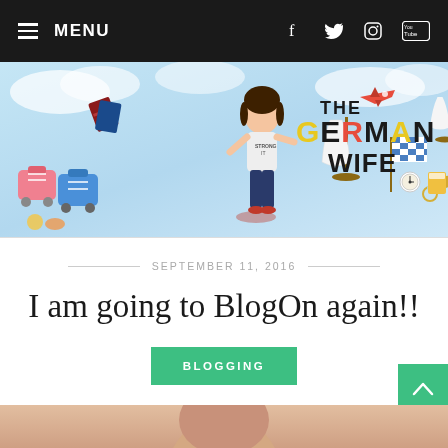MENU | social icons: Facebook, Twitter, Instagram, YouTube
[Figure (illustration): The German Wife blog banner with illustrated characters, luggage, airplane, dress on mannequin, Bavarian flag, beer mug, and colorful logo text]
SEPTEMBER 11, 2016
I am going to BlogOn again!!
BLOGGING
[Figure (photo): Partial photo of a person, cropped at bottom of page]